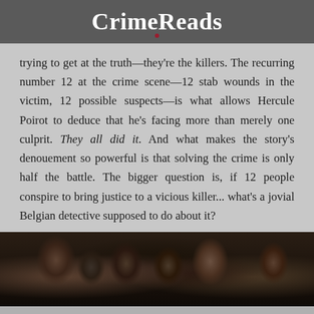CrimeReads
trying to get at the truth—they're the killers. The recurring number 12 at the crime scene—12 stab wounds in the victim, 12 possible suspects—is what allows Hercule Poirot to deduce that he's facing more than merely one culprit. They all did it. And what makes the story's denouement so powerful is that solving the crime is only half the battle. The bigger question is, if 12 people conspire to bring justice to a vicious killer... what's a jovial Belgian detective supposed to do about it?
[Figure (photo): A dark, shadowy photograph showing a group of people in formal attire, appearing to be from a film or theatrical production, possibly related to a murder mystery.]